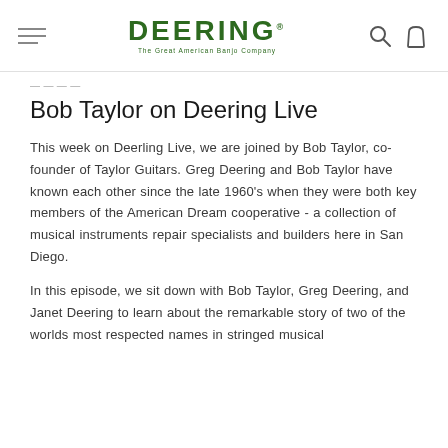DEERING — The Great American Banjo Company
Bob Taylor on Deering Live
This week on Deerling Live, we are joined by Bob Taylor, co-founder of Taylor Guitars. Greg Deering and Bob Taylor have known each other since the late 1960's when they were both key members of the American Dream cooperative - a collection of musical instruments repair specialists and builders here in San Diego.
In this episode, we sit down with Bob Taylor, Greg Deering, and Janet Deering to learn about the remarkable story of two of the worlds most respected names in stringed musical